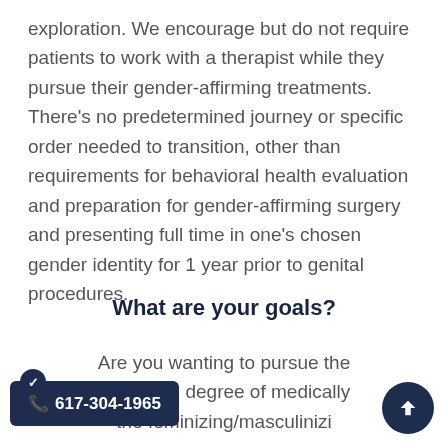exploration. We encourage but do not require patients to work with a therapist while they pursue their gender-affirming treatments. There's no predetermined journey or specific order needed to transition, other than requirements for behavioral health evaluation and preparation for gender-affirming surgery and presenting full time in one's chosen gender identity for 1 year prior to genital procedures.
What are your goals?
Are you wanting to pursue the maximum degree of medically the feminizing/masculinizi...